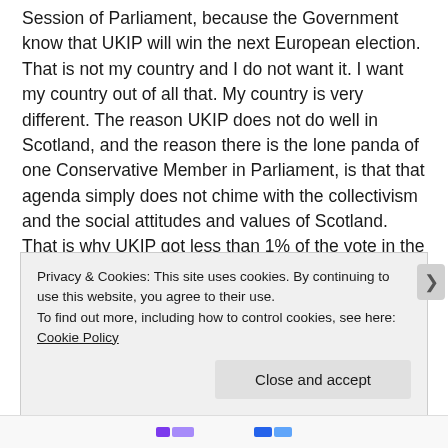Session of Parliament, because the Government know that UKIP will win the next European election. That is not my country and I do not want it. I want my country out of all that. My country is very different. The reason UKIP does not do well in Scotland, and the reason there is the lone panda of one Conservative Member in Parliament, is that that agenda simply does not chime with the collectivism and the social attitudes and values of Scotland. That is why UKIP got less than 1% of the vote in the most recent Scottish parliamentary elections. I am proud that my country is so different from the one we observe south of the border. I hope that England and the rest of the United Kingdom do not
Privacy & Cookies: This site uses cookies. By continuing to use this website, you agree to their use.
To find out more, including how to control cookies, see here: Cookie Policy
Close and accept